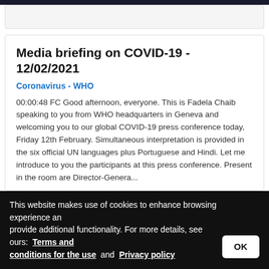Media briefing on COVID-19 - 12/02/2021
Coronavirus - WHO
00:00:48 FC Good afternoon, everyone. This is Fadela Chaib speaking to you from WHO headquarters in Geneva and welcoming you to our global COVID-19 press conference today, Friday 12th February. Simultaneous interpretation is provided in the six official UN languages plus Portuguese and Hindi. Let me introduce to you the participants at this press conference. Present in the room are Director-Genera...
See more details
Coronavirus Infections/epidemiology, Pneumonia, Viral/epidemiology, Pandemics/prevention & control, Americas/epidemiology, Epidemiological Monitoring,
This website makes use of cookies to enhance browsing experience and provide additional functionality. For more details, see ours: Terms and conditions for the use and Privacy policy